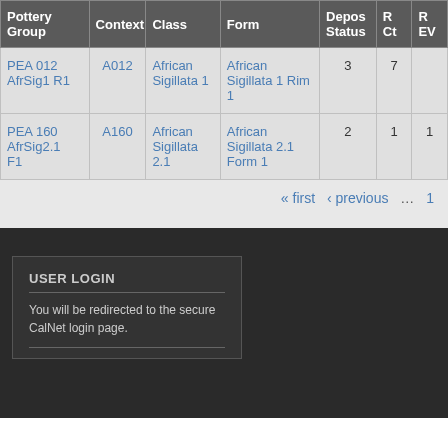| Pottery Group | Context | Class | Form | Depos Status | R Ct | R EV |
| --- | --- | --- | --- | --- | --- | --- |
| PEA 012 AfrSig1 R1 | A012 | African Sigillata 1 | African Sigillata 1 Rim 1 | 3 | 7 |  |
| PEA 160 AfrSig2.1 F1 | A160 | African Sigillata 2.1 | African Sigillata 2.1 Form 1 | 2 | 1 | 1 |
« first  ‹ previous  ...  1
USER LOGIN
You will be redirected to the secure CalNet login page.